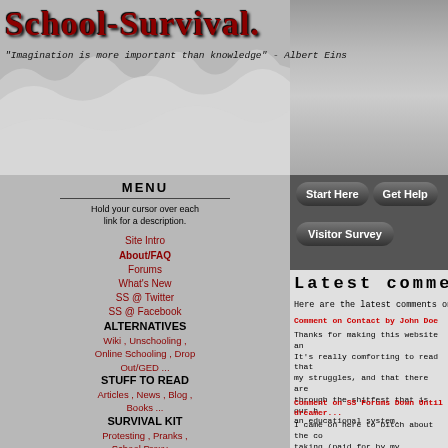School-Survival.
"Imagination is more important than knowledge" - Albert Einstein
[Figure (screenshot): Crumpled paper background texture behind the header]
MENU
Hold your cursor over each link for a description.
Site Intro
About/FAQ
Forums
What's New
SS @ Twitter
SS @ Facebook
ALTERNATIVES
Wiki , Unschooling , Online Schooling , Drop Out/GED ...
STUFF TO READ
Articles , News , Blog , Books ...
SURVIVAL KIT
Protesting , Pranks , School Proxy ...
Start Here
Get Help
Visitor Survey
Latest comme
Here are the latest comments on the
Comment on Contact by John Doe
Thanks for making this website an It's really comforting to read that my struggles, and that there are through the shitfest that is our h an educational system.
Comment on SS Forums Down Until F dreamer...
I came on here to bitch about the co taking (paid for by my employer; I w them without the carrot of a poten dangled before me) ... it's a pity